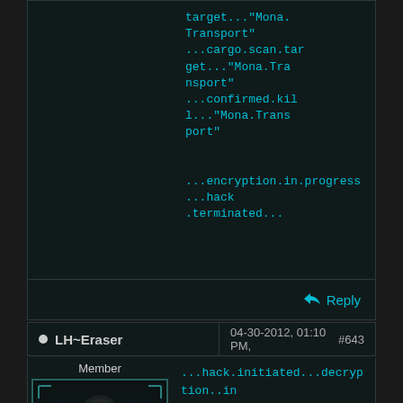target..."Mona.Transport"
...cargo.scan.target..."Mona.Transport"
...confirmed.kill..."Mona.Transport"

...encryption.in.progress...hack.terminated...
Reply
LH~Eraser   04-30-2012, 01:10 PM,   #643
Member
[Figure (photo): Avatar image of a man with 'ERASER' text at the bottom, in a dark sci-fi style frame]
Posts: 3
Threads: 0
...hack.initiated...decryption..in..progress...
...comm.id.lh~eraser.recognized...uploading data...

Surgery log, Airdrie hideout, subject: Eraser